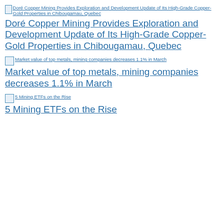[Figure (other): Thumbnail image for article: Doré Copper Mining Provides Exploration and Development Update of Its High-Grade Copper-Gold Properties in Chibougamau, Quebec]
Doré Copper Mining Provides Exploration and Development Update of Its High-Grade Copper-Gold Properties in Chibougamau, Quebec
[Figure (other): Thumbnail image for article: Market value of top metals, mining companies decreases 1.1% in March]
Market value of top metals, mining companies decreases 1.1% in March
[Figure (other): Thumbnail image for article: 5 Mining ETFs on the Rise]
5 Mining ETFs on the Rise